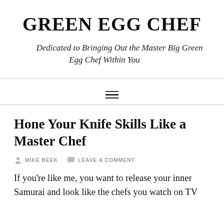GREEN EGG CHEF
Dedicated to Bringing Out the Master Big Green Egg Chef Within You
☰
Hone Your Knife Skills Like a Master Chef
MIKE BEEK   LEAVE A COMMENT
If you're like me, you want to release your inner Samurai and look like the chefs you watch on TV